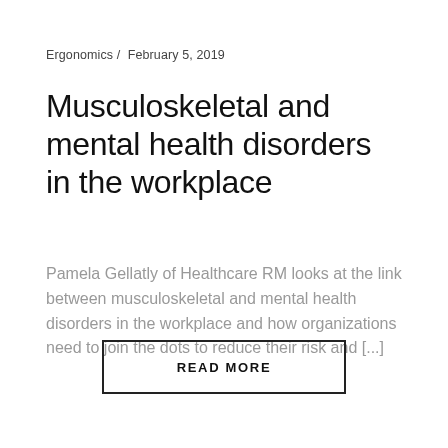Ergonomics /  February 5, 2019
Musculoskeletal and mental health disorders in the workplace
Pamela Gellatly of Healthcare RM looks at the link between musculoskeletal and mental health disorders in the workplace and how organizations need to join the dots to reduce their risk and [...]
READ MORE